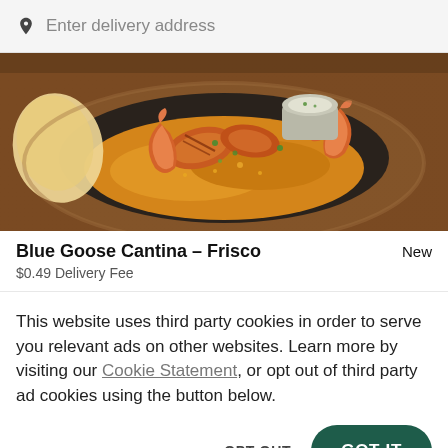Enter delivery address
[Figure (photo): Food photo showing grilled shrimp and chicken on a sizzling skillet with rice and a dipping sauce, served on a wooden board]
Blue Goose Cantina – Frisco
New
$0.49 Delivery Fee
This website uses third party cookies in order to serve you relevant ads on other websites. Learn more by visiting our Cookie Statement, or opt out of third party ad cookies using the button below.
OPT OUT
GOT IT